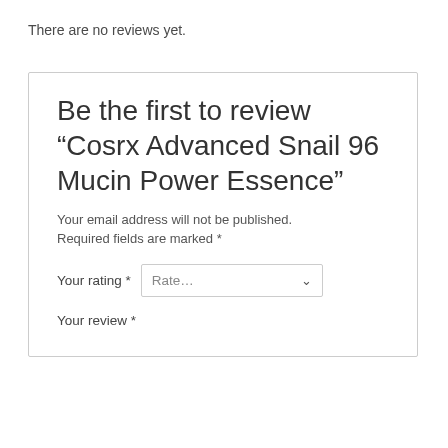There are no reviews yet.
Be the first to review “Cosrx Advanced Snail 96 Mucin Power Essence”
Your email address will not be published.
Required fields are marked *
Your rating *   Rate…
Your review *